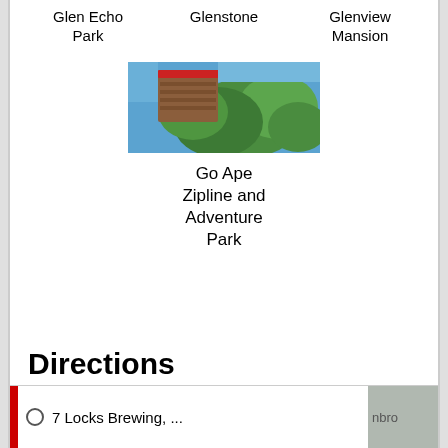Glen Echo Park
Glenstone
Glenview Mansion
[Figure (photo): Upward view through tree canopy with wooden structure visible against blue sky — Go Ape Zipline and Adventure Park]
Go Ape Zipline and Adventure Park
Directions
[Figure (map): Map screenshot showing a directions interface with a red bar on left, a location pin circle icon, text '7 Locks Brewing, ...' and partial place name 'nbro' visible on grey area to the right]